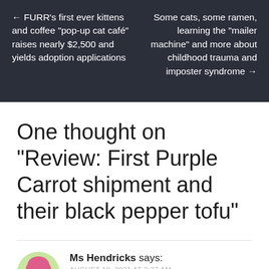← FURR's first ever kittens and coffee “pop-up cat café” raises nearly $2,500 and yields adoption applications
Some cats, some ramen, learning the “mailer machine” and more about childhood trauma and imposter syndrome →
One thought on “Review: First Purple Carrot shipment and their black pepper tofu”
Ms Hendricks says:
AUGUST 18, 2021 AT 8:37 AM
That tofu looks delish! I heart fried tofu. Who are you trying next? I’m always getting coupon